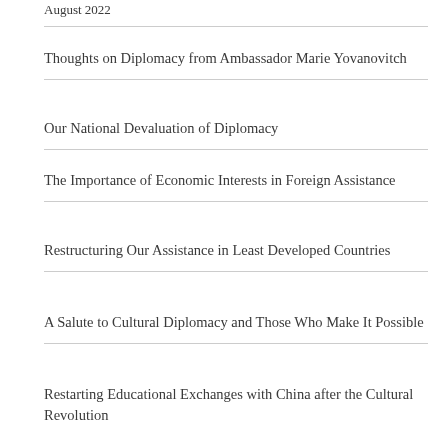August 2022
Thoughts on Diplomacy from Ambassador Marie Yovanovitch
Our National Devaluation of Diplomacy
The Importance of Economic Interests in Foreign Assistance
Restructuring Our Assistance in Least Developed Countries
A Salute to Cultural Diplomacy and Those Who Make It Possible
Restarting Educational Exchanges with China after the Cultural Revolution